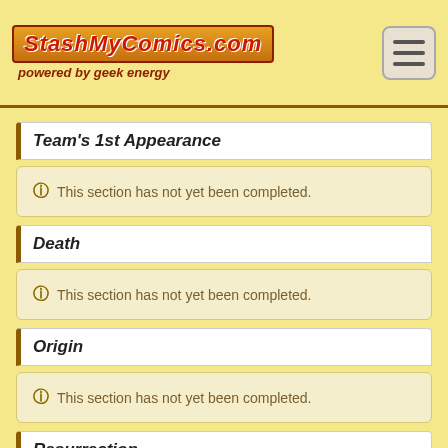StashMyComics.com powered by geek energy
Team's 1st Appearance
This section has not yet been completed.
Death
This section has not yet been completed.
Origin
This section has not yet been completed.
Resurrection